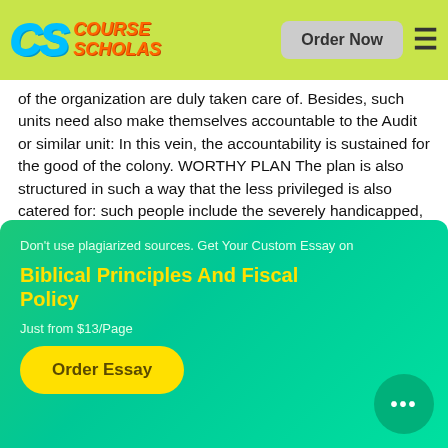[Figure (logo): Course Scholars logo with CS letters and navigation bar with Order Now button and hamburger menu]
of the organization are duly taken care of. Besides, such units need also make themselves accountable to the Audit or similar unit: In this vein, the accountability is sustained for the good of the colony. WORTHY PLAN The plan is also structured in such a way that the less privileged is also catered for: such people include the severely handicapped, orphans, the aged.
Don't use plagiarized sources. Get Your Custom Essay on
Biblical Principles And Fiscal Policy
Just from $13/Page
Order Essay